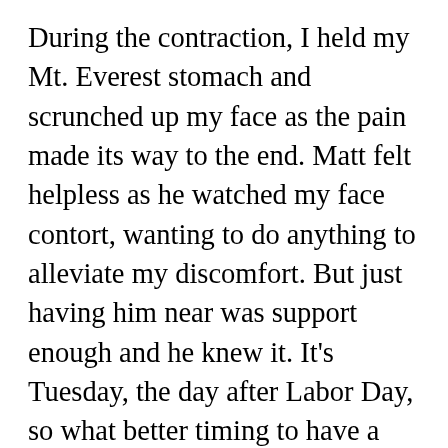During the contraction, I held my Mt. Everest stomach and scrunched up my face as the pain made its way to the end. Matt felt helpless as he watched my face contort, wanting to do anything to alleviate my discomfort. But just having him near was support enough and he knew it. It's Tuesday, the day after Labor Day, so what better timing to have a baby? Aside from contractions, the soft pastel blues in my hospital room relaxed me. The young nurse on my shift wore her long auburn hair in a soft ponytail and she had the warmest smile. Her voice was as rich and soothing as chocolate. She didn't make me feel like